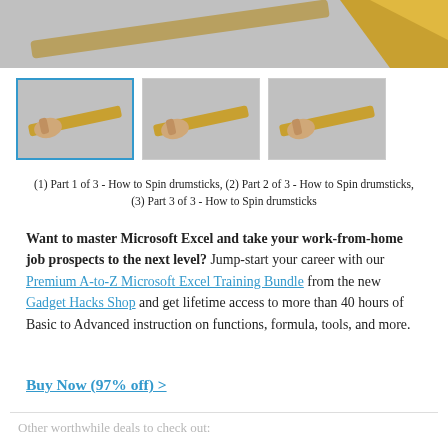[Figure (photo): Top portion of photo showing drumstick being held by a hand against grey background, with gold diagonal element in top right corner]
[Figure (photo): Row of three thumbnail images showing a hand holding/spinning a drumstick. First thumbnail has a blue border indicating selection.]
(1) Part 1 of 3 - How to Spin drumsticks, (2) Part 2 of 3 - How to Spin drumsticks, (3) Part 3 of 3 - How to Spin drumsticks
Want to master Microsoft Excel and take your work-from-home job prospects to the next level? Jump-start your career with our Premium A-to-Z Microsoft Excel Training Bundle from the new Gadget Hacks Shop and get lifetime access to more than 40 hours of Basic to Advanced instruction on functions, formula, tools, and more.
Buy Now (97% off) >
Other worthwhile deals to check out: